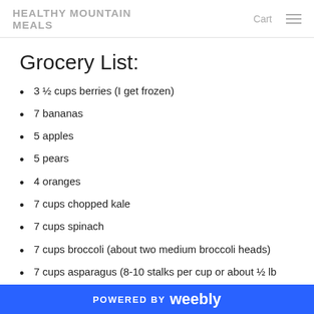HEALTHY MOUNTAIN MEALS
Grocery List:
3 ½ cups berries (I get frozen)
7 bananas
5 apples
5 pears
4 oranges
7 cups chopped kale
7 cups spinach
7 cups broccoli (about two medium broccoli heads)
7 cups asparagus (8-10 stalks per cup or about ½ lb
POWERED BY weebly